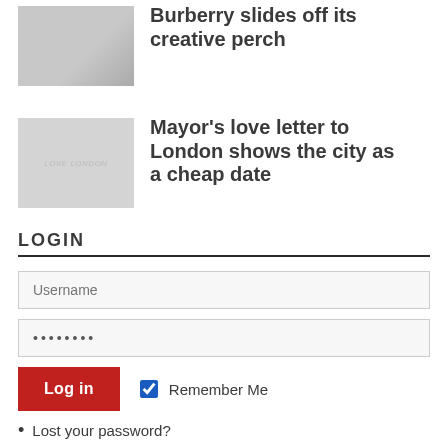[Figure (photo): Grayscale thumbnail image for Burberry article]
Burberry slides off its creative perch
[Figure (photo): Grayscale thumbnail image with 'Love London' text overlay for Mayor's article]
Mayor’s love letter to London shows the city as a cheap date
LOGIN
Username
••••••••
Log in
Remember Me
Lost your password?